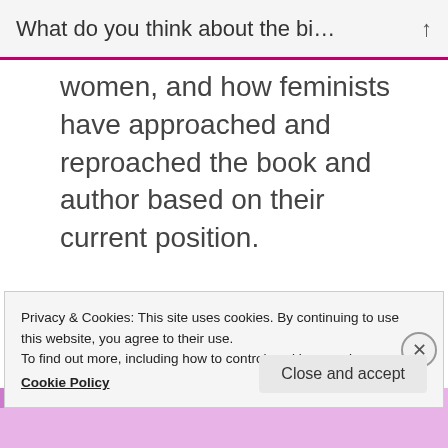What do you think about the bi...
women, and how feminists have approached and reproached the book and author based on their current position.
You are making sense haha and I love that you are commenting and giving me your opinion! I think it is easier nowadays to know better if
Privacy & Cookies: This site uses cookies. By continuing to use this website, you agree to their use.
To find out more, including how to control cookies, see here:
Cookie Policy
Close and accept